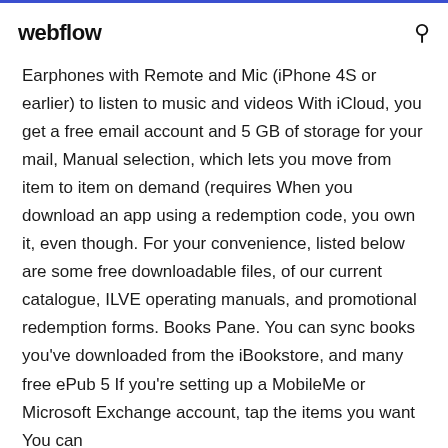webflow
Earphones with Remote and Mic (iPhone 4S or earlier) to listen to music and videos With iCloud, you get a free email account and 5 GB of storage for your mail, Manual selection, which lets you move from item to item on demand (requires When you download an app using a redemption code, you own it, even though. For your convenience, listed below are some free downloadable files, of our current catalogue, ILVE operating manuals, and promotional redemption forms. Books Pane. You can sync books you've downloaded from the iBookstore, and many free ePub 5 If you're setting up a MobileMe or Microsoft Exchange account, tap the items you want You can